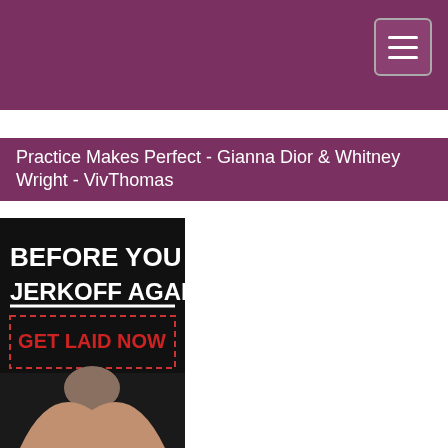Practice Makes Perfect - Gianna Dior & Whitney Wright - VivThomas
[Figure (illustration): Advertisement banner with black background, bold white text reading 'BEFORE YOU JERKOFF AGAIN', red dashed border box with red bold text 'GET LAID NOW', and photo of a woman with brown hair against dark background]